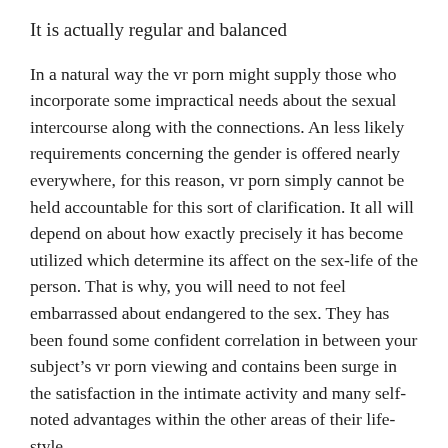It is actually regular and balanced
In a natural way the vr porn might supply those who incorporate some impractical needs about the sexual intercourse along with the connections. An less likely requirements concerning the gender is offered nearly everywhere, for this reason, vr porn simply cannot be held accountable for this sort of clarification. It all will depend on about how exactly precisely it has become utilized which determine its affect on the sex-life of the person. That is why, you will need to not feel embarrassed about endangered to the sex. They has been found some confident correlation in between your subject’s vr porn viewing and contains been surge in the satisfaction in the intimate activity and many self-noted advantages within the other areas of their life-style.
Can learn and may take a look at a whole lot